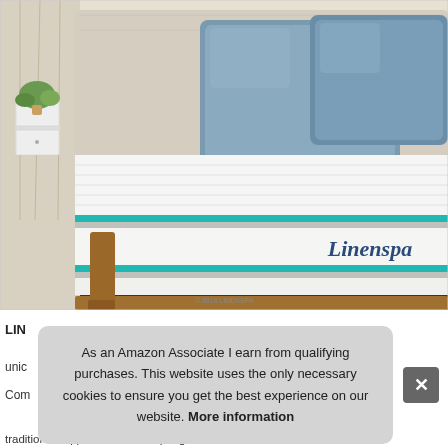[Figure (photo): A Linenspa branded mattress with teal/turquoise trim displayed on a wooden bed frame with blue-gray throw pillows, in a modern bedroom setting with a side table and plant. Copyright 2018 LINENSPA watermark at bottom of image.]
LINENSPA
unique
Com
As an Amazon Associate I earn from qualifying purchases. This website uses the only necessary cookies to ensure you get the best experience on our website. More information
traditional support of an innerspring mattress for a medium